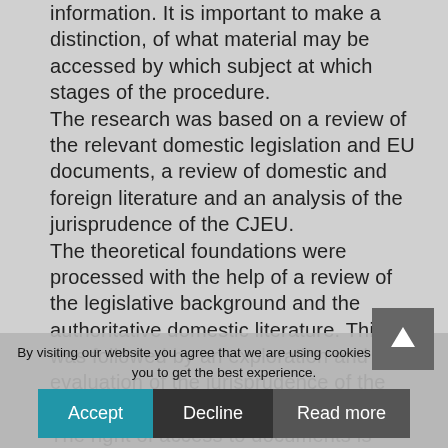information. It is important to make a distinction, of what material may be accessed by which subject at which stages of the procedure.
The research was based on a review of the relevant domestic legislation and EU documents, a review of domestic and foreign literature and an analysis of the jurisprudence of the CJEU.
The theoretical foundations were processed with the help of a review of the legislative background and the authoritative domestic literature. This was followed by an exploration and evaluation of the jurisprudence of the CJEU.
The right of access to documents is enshrined in the jurisprudence of the European Court of Human Rights (ECtHR) in relation to the right to a fair trial. The European Union Directive 2012/13/EU ensures access to the case file in the context of the right to information for the accused. The CJEU addressed the issue in its judgment in C-612/15, Kolev and others; no jurisprudence is currently available on this. The definition of the limits of access to the case file is possible on the basis of the principles established in the case-law of the ECtHR (European Court of Human Rights): the ECtHR always refers to the right of access to information and in relation to Article 6 of the European Convention on Human
By visiting our website you agree that we are using cookies to ensure you to get the best experience.